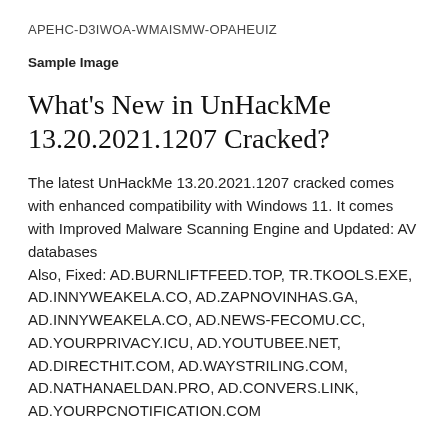APEHC-D3IWOA-WMAISMW-OPAHEUIZ
Sample Image
What's New in UnHackMe 13.20.2021.1207 Cracked?
The latest UnHackMe 13.20.2021.1207 cracked comes with enhanced compatibility with Windows 11. It comes with Improved Malware Scanning Engine and Updated: AV databases
Also, Fixed: AD.BURNLIFTFEED.TOP, TR.TKOOLS.EXE, AD.INNYWEAKELA.CO, AD.ZAPNOVINHAS.GA, AD.INNYWEAKELA.CO, AD.NEWS-FECOMU.CC, AD.YOURPRIVACY.ICU, AD.YOUTUBEE.NET, AD.DIRECTHIT.COM, AD.WAYSTRILING.COM, AD.NATHANAELDAN.PRO, AD.CONVERS.LINK,
AD.YOURPCNOTIFICATION.COM